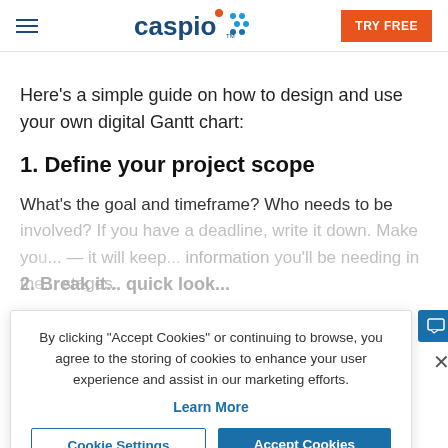caspio — TRY FREE
Here's a simple guide on how to design and use your own digital Gantt chart:
1. Define your project scope
What's the goal and timeframe? Who needs to be involved? If you have a deadline, write it down. Make you... — it will keep... information you'll be needing in the... stages.
By clicking "Accept Cookies" or continuing to browse, you agree to the storing of cookies to enhance your user experience and assist in our marketing efforts.
Learn More
Cookie Settings
Accept Cookies
2. Break it... quick look...